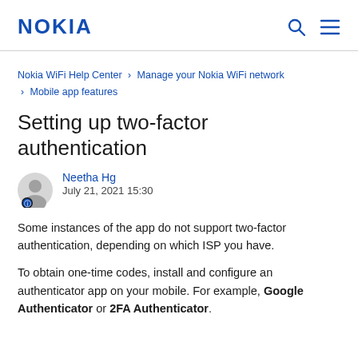NOKIA
Nokia WiFi Help Center › Manage your Nokia WiFi network › Mobile app features
Setting up two-factor authentication
Neetha Hg
July 21, 2021 15:30
Some instances of the app do not support two-factor authentication, depending on which ISP you have.
To obtain one-time codes, install and configure an authenticator app on your mobile. For example, Google Authenticator or 2FA Authenticator.